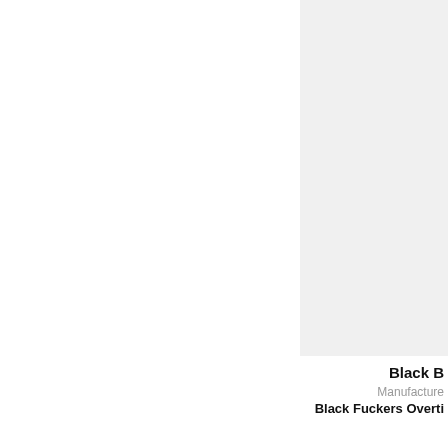[Figure (other): Gray rectangular panel occupying the right portion of the upper area of the page]
Black B
Manufacture
Black Fuckers Overti